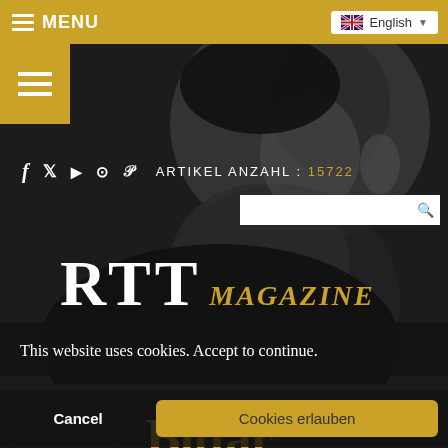MENU  English
[Figure (screenshot): Hero background photo of a person in dark profile, grayscale, with golden hamburger menu icon overlay in top left]
f  twitter  youtube  instagram  pinterest  ARTIKEL ANZAHL : 15722
RTT MAGAZINE
This website uses cookies. Accept to continue.
Cancel  Cookies erlauben
Alexis Bittar